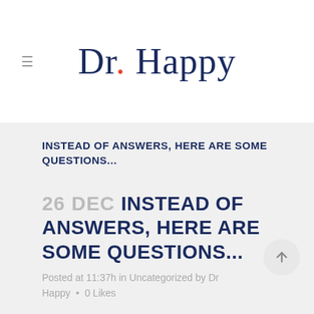Dr. Happy
INSTEAD OF ANSWERS, HERE ARE SOME QUESTIONS...
26 DEC INSTEAD OF ANSWERS, HERE ARE SOME QUESTIONS...
Posted at 11:37h in Uncategorized by Dr Happy · 0 Likes
Too often, those of us looking for happiness and success believe we need to find answers.